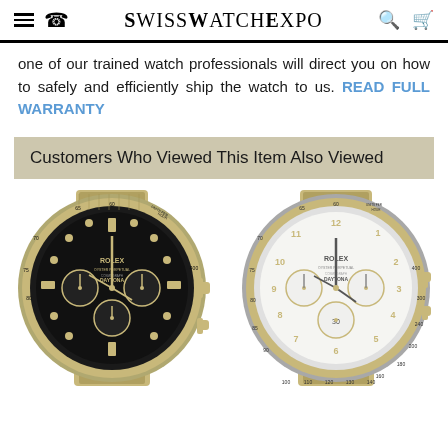SwissWatchExpo
one of our trained watch professionals will direct you on how to safely and efficiently ship the watch to us. READ FULL WARRANTY
Customers Who Viewed This Item Also Viewed
[Figure (photo): Rolex Daytona chronograph watch with black dial, gold bezel, and two-tone steel/gold bracelet]
[Figure (photo): Rolex Daytona chronograph watch with white dial, gold bezel, and two-tone steel/gold bracelet]